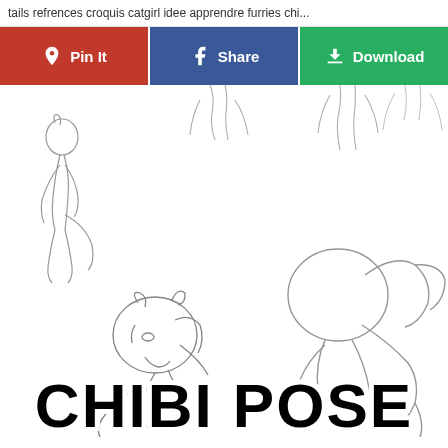tails refrences croquis catgirl idee apprendre furries chi...
[Figure (screenshot): Social sharing button bar with Pin It (red), Share (blue), and Download (green) buttons with icons]
[Figure (illustration): Chibi pose reference sketches showing multiple chibi character figures in various poses, pencil sketch style, with large bold text 'CHIBI POSE' at the bottom]